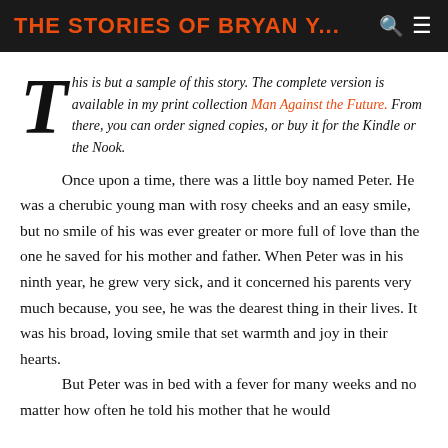THE STORIES OF BRYAN Y...
This is but a sample of this story.  The complete version is available in my print collection Man Against the Future.  From there, you can order signed copies, or buy it for the Kindle or the Nook.
Once upon a time, there was a little boy named Peter.  He was a cherubic young man with rosy cheeks and an easy smile, but no smile of his was ever greater or more full of love than the one he saved for his mother and father.  When Peter was in his ninth year, he grew very sick, and it concerned his parents very much because, you see, he was the dearest thing in their lives.  It was his broad, loving smile that set warmth and joy in their hearts.

But Peter was in bed with a fever for many weeks and no matter how often he told his mother that he would